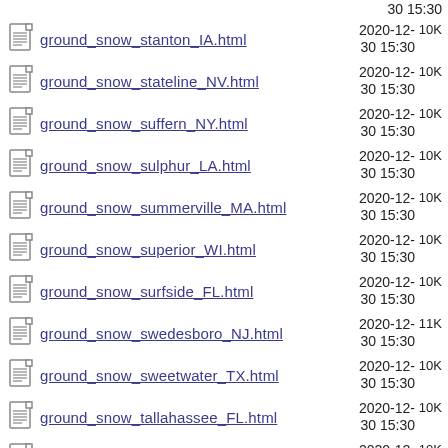30 15:30 (partial top)
ground_snow_stanton_IA.html  2020-12-30 15:30  10K
ground_snow_stateline_NV.html  2020-12-30 15:30  10K
ground_snow_suffern_NY.html  2020-12-30 15:30  10K
ground_snow_sulphur_LA.html  2020-12-30 15:30  10K
ground_snow_summerville_MA.html  2020-12-30 15:30  10K
ground_snow_superior_WI.html  2020-12-30 15:30  10K
ground_snow_surfside_FL.html  2020-12-30 15:30  10K
ground_snow_swedesboro_NJ.html  2020-12-30 15:30  11K
ground_snow_sweetwater_TX.html  2020-12-30 15:30  10K
ground_snow_tallahassee_FL.html  2020-12-30 15:30  10K
ground_snow_tolland_CT.html  2020-12-30 15:30  10K